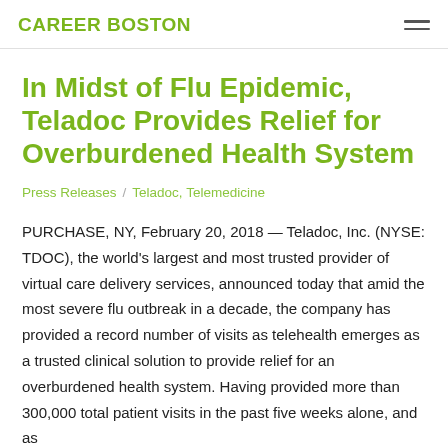CAREER BOSTON
In Midst of Flu Epidemic, Teladoc Provides Relief for Overburdened Health System
Press Releases / Teladoc, Telemedicine
PURCHASE, NY, February 20, 2018 — Teladoc, Inc. (NYSE: TDOC), the world's largest and most trusted provider of virtual care delivery services, announced today that amid the most severe flu outbreak in a decade, the company has provided a record number of visits as telehealth emerges as a trusted clinical solution to provide relief for an overburdened health system. Having provided more than 300,000 total patient visits in the past five weeks alone, and as